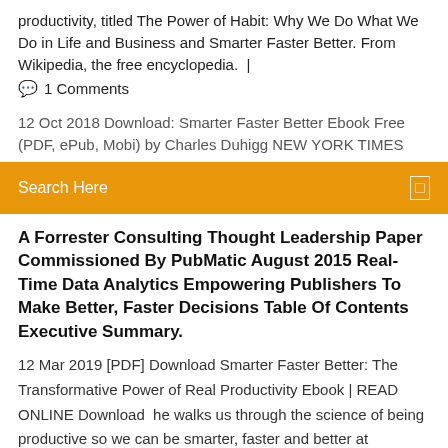productivity, titled The Power of Habit: Why We Do What We Do in Life and Business and Smarter Faster Better. From Wikipedia, the free encyclopedia.  |
💬  1 Comments
12 Oct 2018 Download: Smarter Faster Better Ebook Free (PDF, ePub, Mobi) by Charles Duhigg NEW YORK TIMES
Search Here
A Forrester Consulting Thought Leadership Paper Commissioned By PubMatic August 2015 Real-Time Data Analytics Empowering Publishers To Make Better, Faster Decisions Table Of Contents Executive Summary.
12 Mar 2019 [PDF] Download Smarter Faster Better: The Transformative Power of Real Productivity Ebook | READ ONLINE Download  he walks us through the science of being productive so we can be smarter, faster and better at everything we do. Get Your Free Note! Download PDF. Editorial Reviews. Review. "A pleasure to read . . . . [Charles] Duhigg's skill